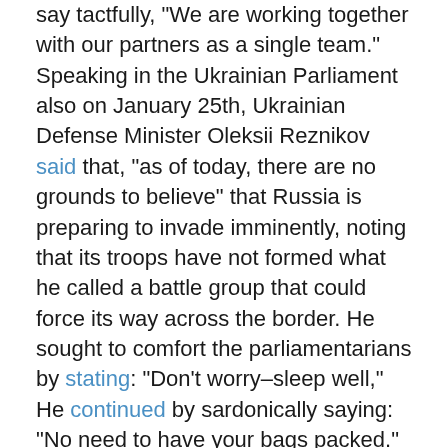say tactfully, "We are working together with our partners as a single team." Speaking in the Ukrainian Parliament also on January 25th, Ukrainian Defense Minister Oleksii Reznikov said that, "as of today, there are no grounds to believe" that Russia is preparing to invade imminently, noting that its troops have not formed what he called a battle group that could force its way across the border. He sought to comfort the parliamentarians by stating: "Don't worry–sleep well," He continued by sardonically saying: "No need to have your bags packed."
The indications and implications of these statements for Blinken may have been that repeatedly sounding the alarm that the "Russians are coming," more than stoking fears of invasion among Ukrainians, was garnering considerable disfavor and rebuke from them. In this wise, it clearly appears to be the preference of his ancestral